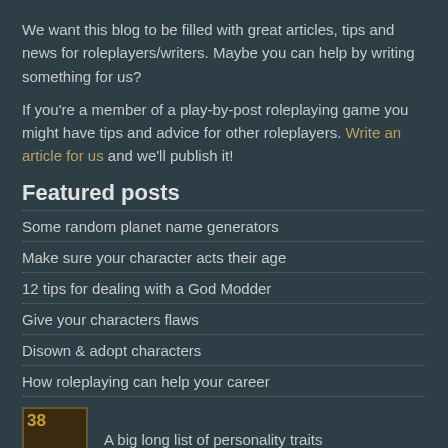We want this blog to be filled with great articles, tips and news for roleplayers/writers. Maybe you can help by writing something for us?
If you're a member of a play-by-post roleplaying game you might have tips and advice for other roleplayers. Write an article for us and we'll publish it!
Featured posts
Some random planet name generators
Make sure your character acts their age
12 tips for dealing with a God Modder
Give your characters flaws
Disown & adopt characters
How roleplaying can help your career
[Figure (illustration): Thumbnail image showing '38' in gold text with 'QUALITY TRAITS' below on a dark brown background]
A big long list of personality traits